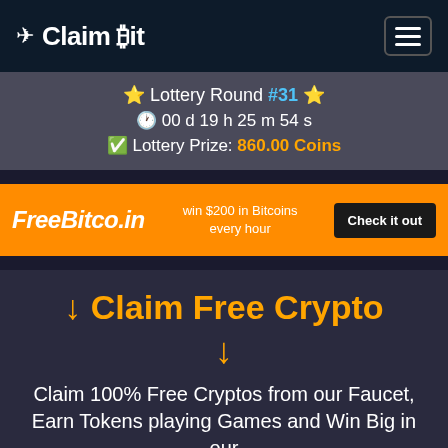✈ Claim ₿it
⭐ Lottery Round #31 ⭐
🕐 00 d 19 h 25 m 54 s
✅ Lottery Prize: 860.00 Coins
[Figure (infographic): FreeBitco.in advertisement banner: orange background with logo 'FreeBitco.in' in white bold italic, text 'win $200 in Bitcoins every hour', and a black 'Check it out' button]
↓ Claim Free Crypto
↓
Claim 100% Free Cryptos from our Faucet, Earn Tokens playing Games and Win Big in our